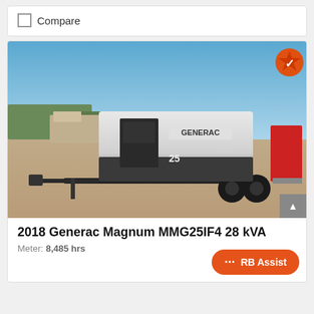Compare
[Figure (photo): 2018 Generac Magnum MMG25IF4 portable generator on a trailer, parked in a gravel lot with trucks and construction equipment in the background. An orange verified badge is in the top-right corner of the image.]
2018 Generac Magnum MMG25IF4 28 kVA
Meter: 8,485 hrs